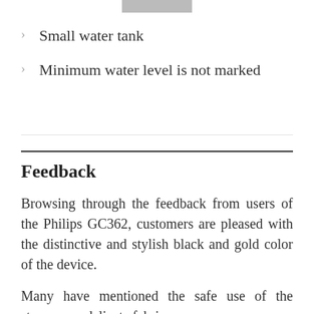Small water tank
Minimum water level is not marked
Feedback
Browsing through the feedback from users of the Philips GC362, customers are pleased with the distinctive and stylish black and gold color of the device.
Many have mentioned the safe use of the steamer on delicate fabrics